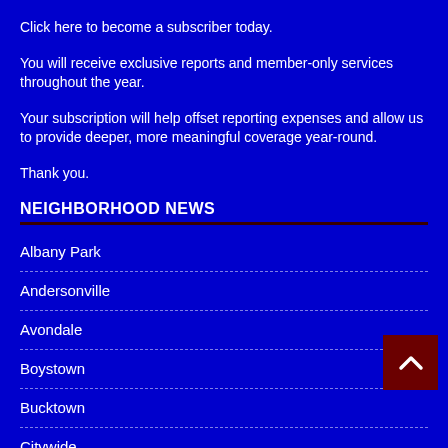Click here to become a subscriber today.
You will receive exclusive reports and member-only services throughout the year.
Your subscription will help offset reporting expenses and allow us to provide deeper, more meaningful coverage year-round.
Thank you.
NEIGHBORHOOD NEWS
Albany Park
Andersonville
Avondale
Boystown
Bucktown
Citywide